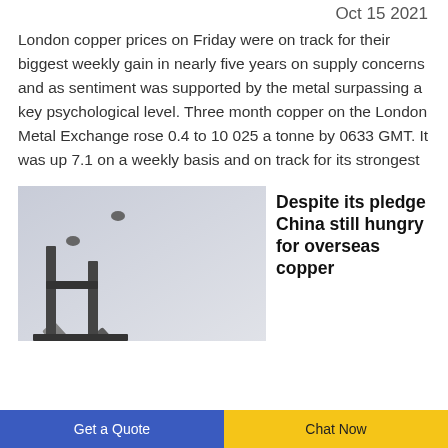Oct 15 2021
London copper prices on Friday were on track for their biggest weekly gain in nearly five years on supply concerns and as sentiment was supported by the metal surpassing a key psychological level. Three month copper on the London Metal Exchange rose 0.4 to 10 025 a tonne by 0633 GMT. It was up 7.1 on a weekly basis and on track for its strongest
[Figure (photo): Photo of a metal conveyor belt / angle bracket structure on a light grey background]
Despite its pledge China still hungry for overseas copper
Get a Quote | Chat Now